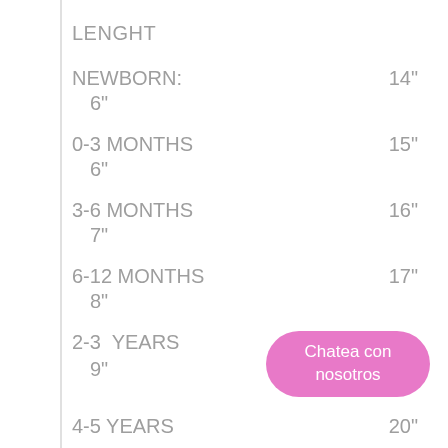LENGHT
NEWBORN:   14"
    6"
0-3 MONTHS   15"
    6"
3-6 MONTHS   16"
    7"
6-12 MONTHS   17"
    8"
2-3  YEARS   [Chatea con nosotros button]
    9"
4-5 YEARS   20"